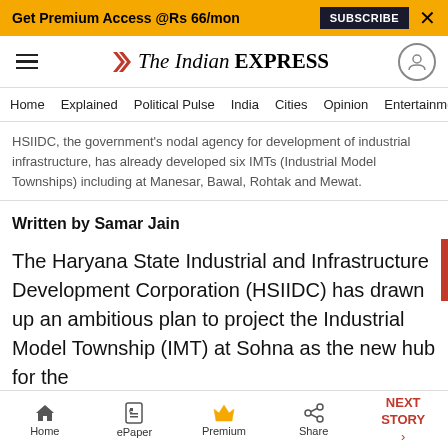Get Premium Access @Rs 66/mon  SUBSCRIBE  ×
[Figure (logo): The Indian EXPRESS logo with red chevron/stripes icon]
Home  Explained  Political Pulse  India  Cities  Opinion  Entertainment
HSIIDC, the government's nodal agency for development of industrial infrastructure, has already developed six IMTs (Industrial Model Townships) including at Manesar, Bawal, Rohtak and Mewat.
Written by Samar Jain
The Haryana State Industrial and Infrastructure Development Corporation (HSIIDC) has drawn up an ambitious plan to project the Industrial Model Township (IMT) at Sohna as the new hub for the
Home  ePaper  Premium  Share  NEXT STORY